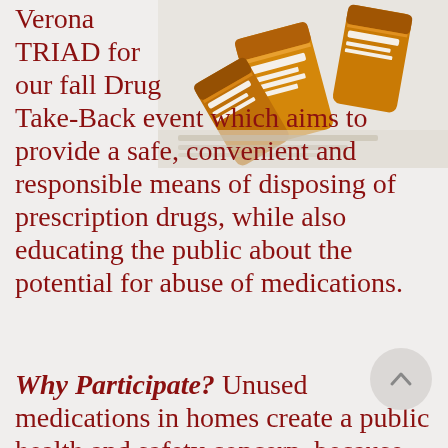[Figure (photo): Photo of orange prescription pill bottles scattered together, viewed from above]
Verona TRIAD for our fall Drug Take-Back event which aims to provide a safe, convenient and responsible means of disposing of prescription drugs, while also educating the public about the potential for abuse of medications.
Why Participate? Unused medications in homes create a public health and safety concern, because they are highly susceptible to accidental ingestion, diversion, misuse and abuse. Rates of